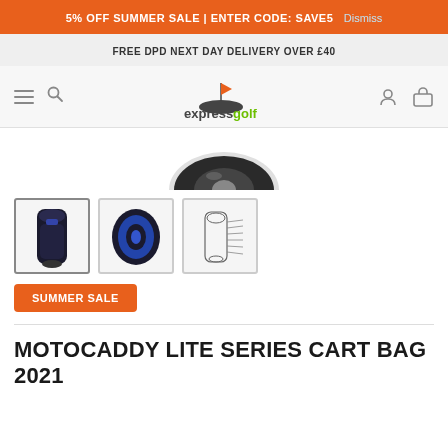5% OFF SUMMER SALE | ENTER CODE: SAVE5 Dismiss
FREE DPD NEXT DAY DELIVERY OVER £40
[Figure (logo): Express Golf logo with golf flag icon above text 'expressgolf' — 'express' in dark grey bold, 'golf' in green bold]
[Figure (photo): Top portion of a Motocaddy golf cart bag, showing the top divider section in dark grey/black and white]
[Figure (photo): Three product thumbnails: 1) Full black golf cart bag, 2) Top-down view of bag with blue/black divider, 3) Diagram/schematic of golf bag with labels]
SUMMER SALE
MOTOCADDY LITE SERIES CART BAG 2021